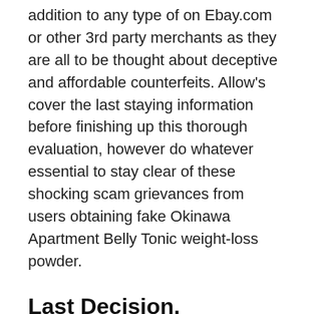addition to any type of on Ebay.com or other 3rd party merchants as they are all to be thought about deceptive and affordable counterfeits. Allow's cover the last staying information before finishing up this thorough evaluation, however do whatever essential to stay clear of these shocking scam grievances from users obtaining fake Okinawa Apartment Belly Tonic weight-loss powder.
Last Decision.
Among the many fraud weight management supplements available on the market, it is challenging to choose a legitimate one. Numerous are formulated with chemical as well as unsafe